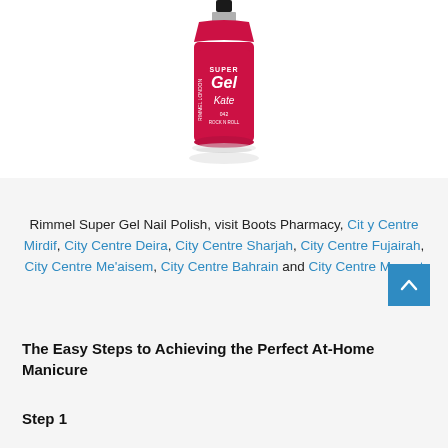[Figure (photo): Rimmel London Super Gel Kate nail polish bottle in red/crimson color, labeled '042 Rock N Roll', shown against a white background.]
Rimmel Super Gel Nail Polish, visit Boots Pharmacy, City Centre Mirdif, City Centre Deira, City Centre Sharjah, City Centre Fujairah, City Centre Me'aisem, City Centre Bahrain and City Centre Muscat
The Easy Steps to Achieving the Perfect At-Home Manicure
Step 1